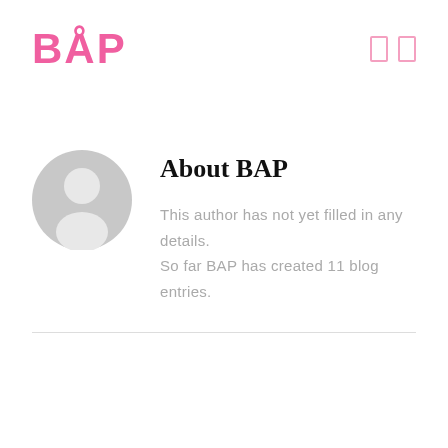BÅP
[Figure (illustration): Gray circular avatar placeholder with person silhouette icon]
About BAP
This author has not yet filled in any details.
So far BAP has created 11 blog entries.